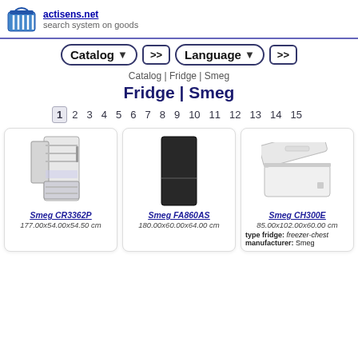actisens.net - search system on goods
Catalog >> | Language >>
Catalog | Fridge | Smeg
Fridge | Smeg
1 2 3 4 5 6 7 8 9 10 11 12 13 14 15
[Figure (photo): Smeg CR3362P refrigerator - white built-in fridge with open door showing interior shelves]
Smeg CR3362P
177.00x54.00x54.50 cm
[Figure (photo): Smeg FA860AS refrigerator - tall dark/black freestanding fridge-freezer]
Smeg FA860AS
180.00x60.00x64.00 cm
[Figure (photo): Smeg CH300E - white chest freezer with lid open]
Smeg CH300E
85.00x102.00x60.00 cm
type fridge: freezer-chest
manufacturer: Smeg